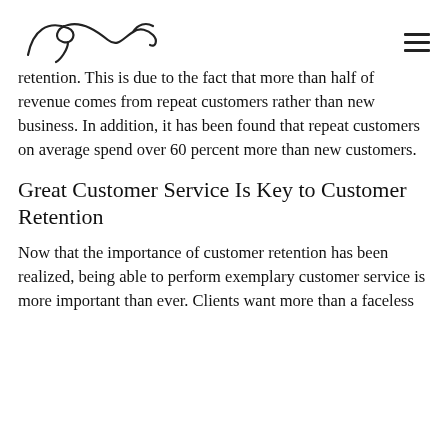[Signature logo] [Hamburger menu]
retention. This is due to the fact that more than half of revenue comes from repeat customers rather than new business. In addition, it has been found that repeat customers on average spend over 60 percent more than new customers.
Great Customer Service Is Key to Customer Retention
Now that the importance of customer retention has been realized, being able to perform exemplary customer service is more important than ever. Clients want more than a faceless